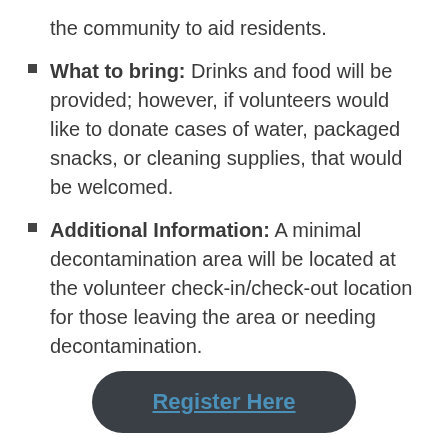the community to aid residents.
What to bring: Drinks and food will be provided; however, if volunteers would like to donate cases of water, packaged snacks, or cleaning supplies, that would be welcomed.
Additional Information: A minimal decontamination area will be located at the volunteer check-in/check-out location for those leaving the area or needing decontamination.
[Figure (other): Dark rounded rectangle button with blue underlined text 'Register Here']
If any of your churches are willing to sponsor